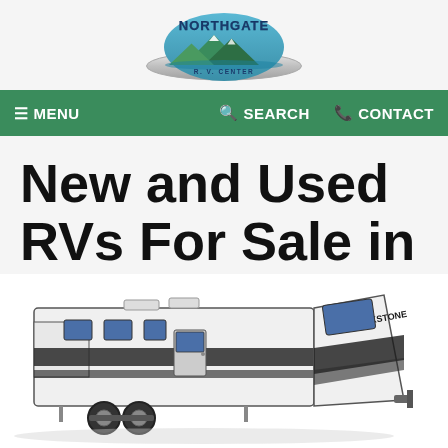[Figure (logo): Northgate R.V. Center logo with mountain and water imagery, teal and silver color scheme]
≡ MENU   🔍 SEARCH   📞 CONTACT
New and Used RVs For Sale in Knoxville, TN
[Figure (photo): A large fifth-wheel RV (Brookstone brand) with black and white exterior, shown from the side on a white background]